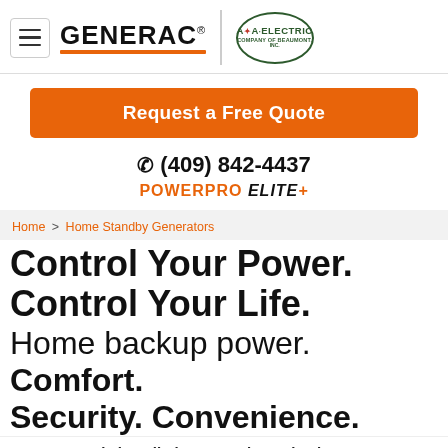GENERAC® | A&A ELECTRIC COMPANY OF BEAUMONT, INC.
Request a Free Quote
☎ (409) 842-4437
POWERPRO ELITE+
Home > Home Standby Generators
Control Your Power. Control Your Life.
Home backup power. Comfort. Security. Convenience.
A permanently installed Generac home backup generator